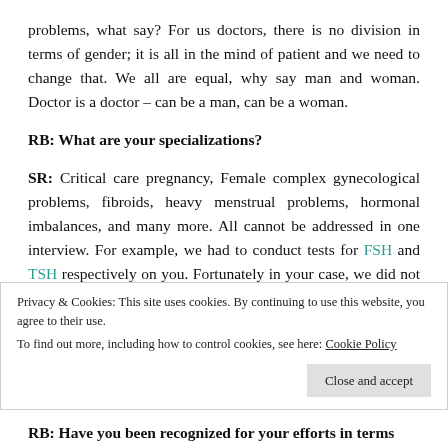problems, what say? For us doctors, there is no division in terms of gender; it is all in the mind of patient and we need to change that. We all are equal, why say man and woman. Doctor is a doctor – can be a man, can be a woman.
RB: What are your specializations?
SR: Critical care pregnancy, Female complex gynecological problems, fibroids, heavy menstrual problems, hormonal imbalances, and many more. All cannot be addressed in one interview. For example, we had to conduct tests for FSH and TSH respectively on you. Fortunately in your case, we did not find any abnormality but I have several patients, who come under severe scrutiny while the hormones play havoc in the
Privacy & Cookies: This site uses cookies. By continuing to use this website, you agree to their use.
To find out more, including how to control cookies, see here: Cookie Policy
RB: Have you been recognized for your efforts in terms